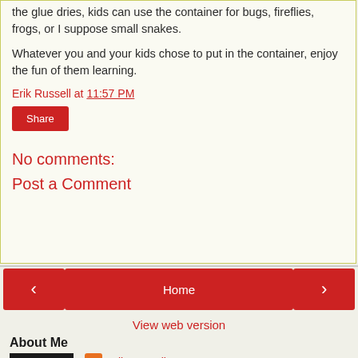the glue dries, kids can use the container for bugs, fireflies, frogs, or I suppose small snakes.
Whatever you and your kids chose to put in the container, enjoy the fun of them learning.
Erik Russell at 11:57 PM
Share
No comments:
Post a Comment
Home
View web version
About Me
Erik Russell